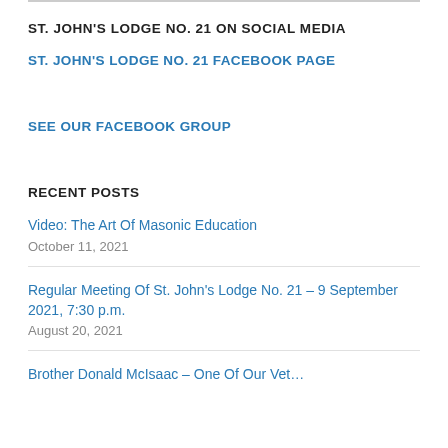ST. JOHN'S LODGE NO. 21 ON SOCIAL MEDIA
ST. JOHN'S LODGE NO. 21 FACEBOOK PAGE
SEE OUR FACEBOOK GROUP
RECENT POSTS
Video: The Art Of Masonic Education
October 11, 2021
Regular Meeting Of St. John's Lodge No. 21 – 9 September 2021, 7:30 p.m.
August 20, 2021
Brother Donald McIsaac – One Of Our Vet…